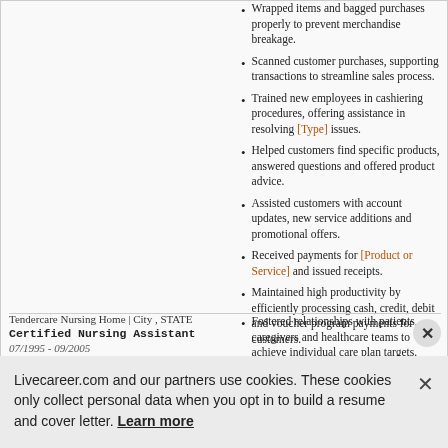Wrapped items and bagged purchases properly to prevent merchandise breakage.
Scanned customer purchases, supporting transactions to streamline sales process.
Trained new employees in cashiering procedures, offering assistance in resolving [Type] issues.
Helped customers find specific products, answered questions and offered product advice.
Assisted customers with account updates, new service additions and promotional offers.
Received payments for [Product or Service] and issued receipts.
Maintained high productivity by efficiently processing cash, credit, debit and voucher program payments for customers.
Tendercare Nursing Home | City , STATE
Certified Nursing Assistant
07/1995 - 09/2005
Fostered relationships with patients, caregivers and healthcare teams to achieve individual care plan targets.
Livecareer.com and our partners use cookies. These cookies only collect personal data when you opt in to build a resume and cover letter. Learn more